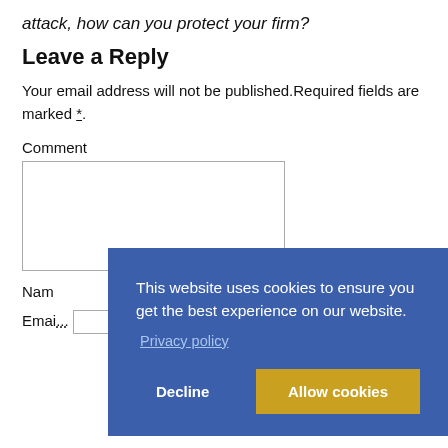attack, how can you protect your firm?
Leave a Reply
Your email address will not be published.Required fields are marked *.
Comment
Nam
Emai...
[Figure (screenshot): Cookie consent overlay with blue background. Text reads: 'This website uses cookies to ensure you get the best experience on our website.' A 'Privacy policy' link appears below. Two buttons at bottom: 'Decline' (text only) and 'Allow cookies' (gold/yellow button).]